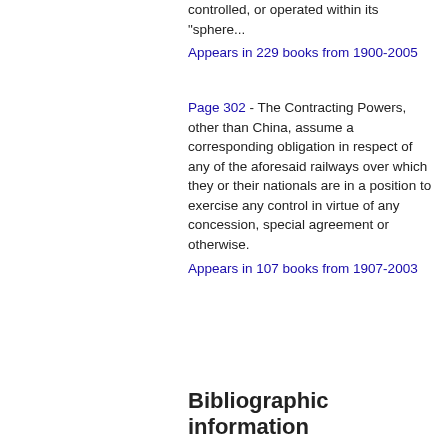controlled, or operated within its "sphere...
Appears in 229 books from 1900-2005
Page 302 - The Contracting Powers, other than China, assume a corresponding obligation in respect of any of the aforesaid railways over which they or their nationals are in a position to exercise any control in virtue of any concession, special agreement or otherwise.
Appears in 107 books from 1907-2003
Bibliographic information